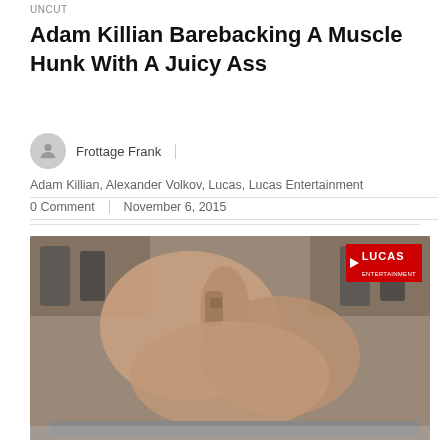UNCUT
Adam Killian Barebacking A Muscle Hunk With A Juicy Ass
Frottage Frank
Adam Killian, Alexander Volkov, Lucas, Lucas Entertainment
0 Comment   November 6, 2015
[Figure (photo): Two men in a gym setting, one with a tattooed arm, overlaid with Lucas Entertainment logo badge in top right corner]